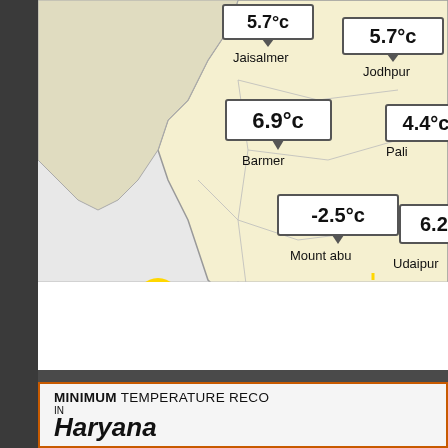[Figure (map): Map of Rajasthan region showing minimum temperature readings at various cities: Jaisalmer 5.7°c, Jodhpur 5.7°c, Barmer 6.9°c, Pali 4.4°c, Mount abu -2.5°c, Udaipur 6.2°c]
[Figure (logo): Live Weather of India logo with cloud, sun, umbrella and wheat icons. Text: LIVE WEATHER OF INDIA, MANAGING WEATHER RISKS IN AGRICULTURE]
[Figure (logo): Weather of Rajasthan logo with cloud, sun and rain/lightning icons, colorful India map graphic]
MINIMUM TEMPERATURE RECORD IN Haryana